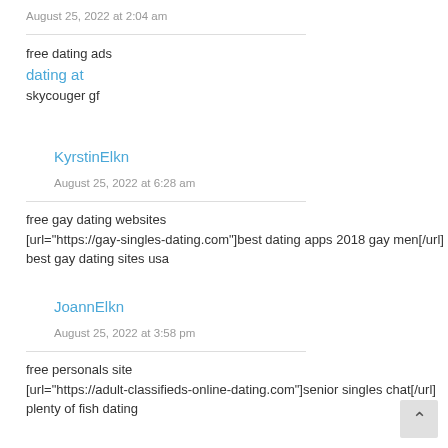August 25, 2022 at 2:04 am
free dating ads
dating at
skycouger gf
KyrstinElkn
August 25, 2022 at 6:28 am
free gay dating websites
[url="https://gay-singles-dating.com"]best dating apps 2018 gay men[/url]
best gay dating sites usa
JoannElkn
August 25, 2022 at 3:58 pm
free personals site
[url="https://adult-classifieds-online-dating.com"]senior singles chat[/url]
plenty of fish dating